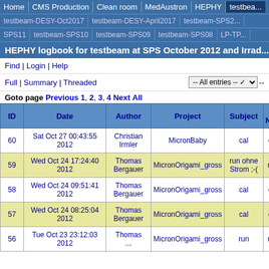Home | CMS Production | Clean room | MedAustron | HEPHY | testbea...
testbeam-DESY-Oct2017 | testbeam-DESY-April2017 | testbeam-SPS2...
SPS11 | testbeam-SPS10 | testbeam-SPS09 | testbeam-SPS08 | LP-TP...
HEPHY logbook for testbeam at SPS October 2012 and Irrad...
Find | Login | Help
Full | Summary | Threaded
Goto page Previous 1, 2, 3, 4 Next All
| ID | Date | Author | Project | Subject | Run Number |
| --- | --- | --- | --- | --- | --- |
| 60 | Sat Oct 27 00:43:55 2012 | Christian Irmler | MicronBaby | cal | cal029 |
| 59 | Wed Oct 24 17:24:40 2012 | Thomas Bergauer | MicronOrigami_gross | run ohne Strom ;-( | run028 |
| 58 | Wed Oct 24 09:51:41 2012 | Thomas Bergauer | MicronOrigami_gross | cal | cal028 |
| 57 | Wed Oct 24 08:25:04 2012 | Thomas Bergauer | MicronOrigami_gross | cal | cal027 |
| 56 | Tue Oct 23 23:12:03 2012 | Thomas ... | MicronOrigami_gross | run | run027 |